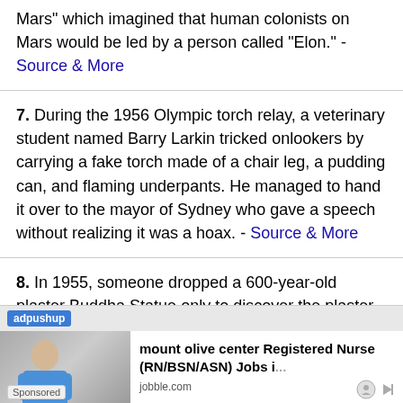Mars" which imagined that human colonists on Mars would be led by a person called "Elon." - Source & More
7. During the 1956 Olympic torch relay, a veterinary student named Barry Larkin tricked onlookers by carrying a fake torch made of a chair leg, a pudding can, and flaming underpants. He managed to hand it over to the mayor of Sydney who gave a speech without realizing it was a hoax. - Source & More
8. In 1955, someone dropped a 600-year-old plaster Buddha Statue only to discover the plaster was covering a solid gold statue beneath. - Source & More
9. In 1950, four students from Glasgow stole the Stone of Scone [Scotland...]
[Figure (infographic): Advertisement overlay from adpushup showing a job listing for 'mount olive center Registered Nurse (RN/BSN/ASN) Jobs i...' from jobble.com with a photo of a person and a Sponsored label]